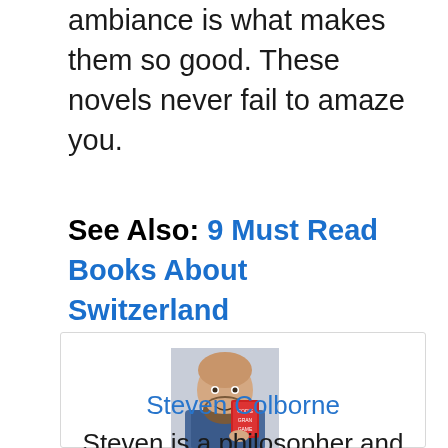ambiance is what makes them so good. These novels never fail to amaze you.
See Also: 9 Must Read Books About Switzerland
[Figure (photo): Author photo of Steven Colborne, a bearded bald man smiling and holding a red book titled God's Grand Game]
Steven Colborne
Steven is a philosopher and